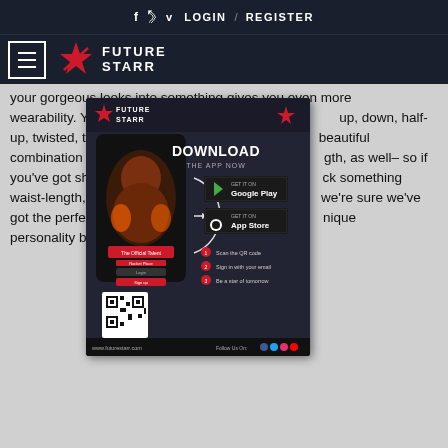f    🐦  𝐯  LOGIN  /  REGISTER
[Figure (logo): Future Starr logo with star icon and hamburger menu on dark navy background]
your gorgeous locks into something gives you even more wearability. You'll find styles for wearing your hair up, down, half-up, twisted, throw-it-back, and many more– plus beautiful combination of all of them– and across every length, as well– so if you've got shorter hair or are just looking for something to rock something waist-length, these styles work for it all! But don't worry, we're sure we've got the perfect box braid hairstyle for your unique personality below.
[Figure (screenshot): Future Starr app advertisement popup showing a woman with glowing hands, Download the App Now text, Google Play and App Store download buttons, QR code, and www.futurestarr.com URL]
We know that you’re looking for a big box braid hairstyle idea that’s just as unique as you are. Perhaps you’re a colorful, artsy woman, who likes to make bold statements with your hair choices. We’ve got tons of looks picked out for you– with all colors under the sun available, box braids are a perfect choice if you want to try on some bright pink locks, pastel hues, or even a subtler caramel blonde. (Source: thecuddl.com)